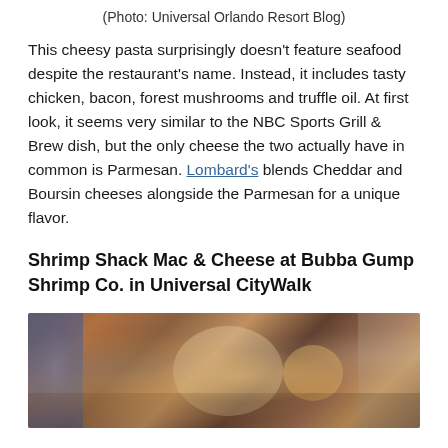(Photo: Universal Orlando Resort Blog)
This cheesy pasta surprisingly doesn't feature seafood despite the restaurant's name. Instead, it includes tasty chicken, bacon, forest mushrooms and truffle oil. At first look, it seems very similar to the NBC Sports Grill & Brew dish, but the only cheese the two actually have in common is Parmesan. Lombard's blends Cheddar and Boursin cheeses alongside the Parmesan for a unique flavor.
Shrimp Shack Mac & Cheese at Bubba Gump Shrimp Co. in Universal CityWalk
[Figure (photo): Blurry interior photo of a restaurant, showing warm lighting, wooden decor elements, and indistinct background details.]